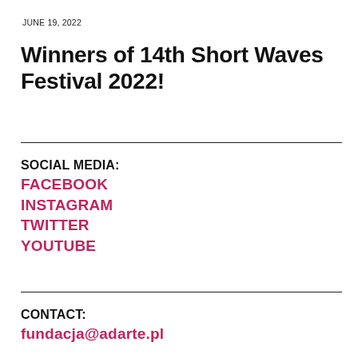JUNE 19, 2022
Winners of 14th Short Waves Festival 2022!
SOCIAL MEDIA:
FACEBOOK
INSTAGRAM
TWITTER
YOUTUBE
CONTACT:
fundacja@adarte.pl